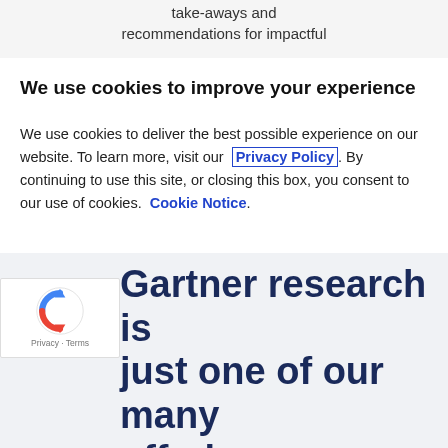take-aways and recommendations for impactful
We use cookies to improve your experience
We use cookies to deliver the best possible experience on our website. To learn more, visit our  Privacy Policy . By continuing to use this site, or closing this box, you consent to our use of cookies.  Cookie Notice .
[Figure (other): Blue Accept button]
Gartner research is just one of our many offerings.
[Figure (other): reCAPTCHA badge with Privacy and Terms links]